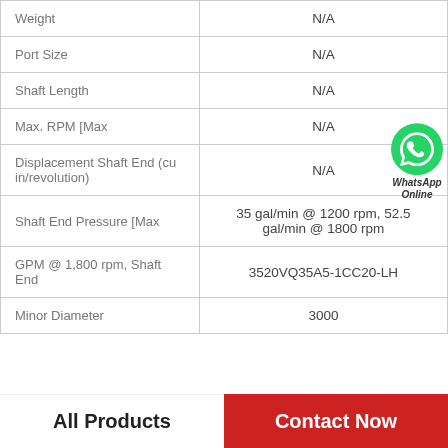| Property | Value |
| --- | --- |
| Weight | N/A |
| Port Size | N/A |
| Shaft Length | N/A |
| Max. RPM [Max | N/A |
| Displacement Shaft End (cu in/revolution) | N/A |
| Shaft End Pressure [Max | 35 gal/min @ 1200 rpm, 52.5 gal/min @ 1800 rpm |
| GPM @ 1,800 rpm, Shaft End | 3520VQ35A5-1CC20-LH |
| Minor Diameter | 3000 |
All Products    Contact Now